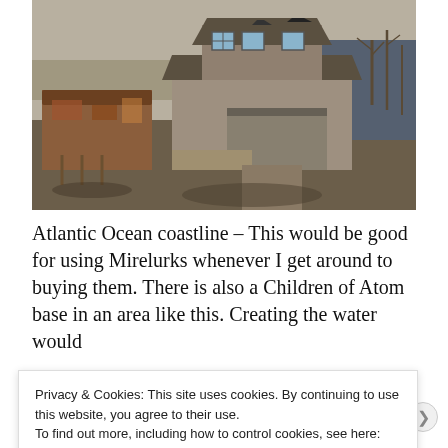[Figure (photo): Aerial view of a post-apocalyptic two-story wooden house with damaged roof, surrounded by rust-colored outbuildings, bare trees, and dirt terrain near what appears to be a coastline. Screenshot from Fallout 4 video game.]
Atlantic Ocean coastline – This would be good for using Mirelurks whenever I get around to buying them. There is also a Children of Atom base in an area like this. Creating the water would
Privacy & Cookies: This site uses cookies. By continuing to use this website, you agree to their use.
To find out more, including how to control cookies, see here: Cookie Policy
Close and accept